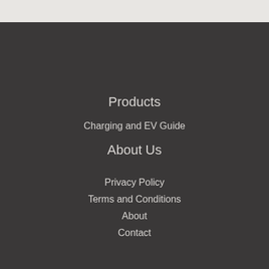[Figure (photo): Grainy/textured light grey banner at top of page]
Products
Charging and EV Guide
About Us
Privacy Policy
Terms and Conditions
About
Contact